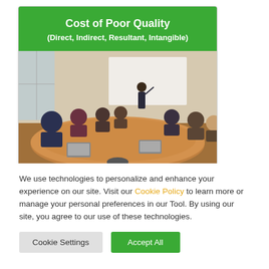Cost of Poor Quality
(Direct, Indirect, Resultant, Intangible)
[Figure (photo): A meeting room scene with people seated around a large conference table, one person standing at a whiteboard presenting.]
We use technologies to personalize and enhance your experience on our site. Visit our Cookie Policy to learn more or manage your personal preferences in our Tool. By using our site, you agree to our use of these technologies.
Cookie Settings
Accept All